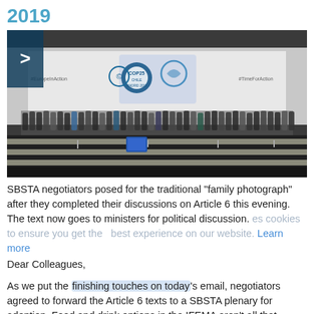2019
[Figure (photo): Group photo of SBSTA negotiators on stage at COP25 Chile Madrid 2019 conference, with conference tables visible in the foreground.]
SBSTA negotiators posed for the traditional "family photograph" after they completed their discussions on Article 6 this evening. The text now goes to ministers for political discussion.
Dear Colleagues,
As we put the finishing touches on today's email, negotiators agreed to forward the Article 6 texts to a SBSTA plenary for adoption. Food and drink options in the IFEMA aren't all that